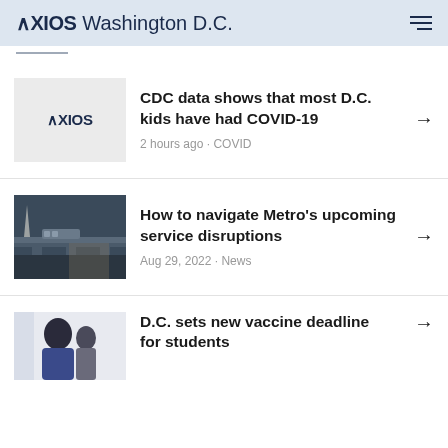AXIOS Washington D.C.
CDC data shows that most D.C. kids have had COVID-19 · 2 hours ago - COVID
How to navigate Metro's upcoming service disruptions · Aug 29, 2022 - News
D.C. sets new vaccine deadline for students